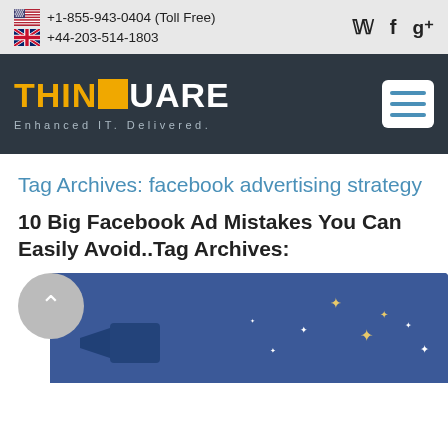🇺🇸 +1-855-943-0404 (Toll Free)  🇬🇧 +44-203-514-1803
[Figure (logo): ThinSquare logo with tagline 'Enhanced IT. Delivered.' on dark navy background with hamburger menu icon]
Tag Archives: facebook advertising strategy
10 Big Facebook Ad Mistakes You Can Easily Avoid..Tag Archives:
[Figure (illustration): Facebook advertising themed illustration with megaphone and sparkles on blue background]